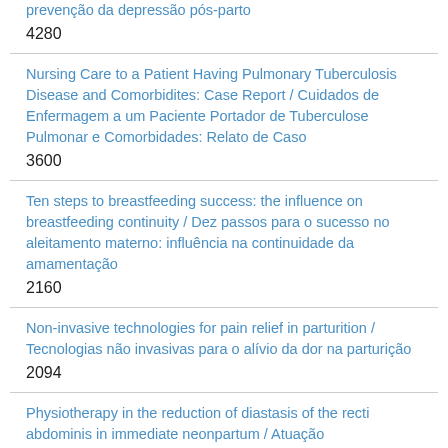prevenção da depressão pós-parto
4280
Nursing Care to a Patient Having Pulmonary Tuberculosis Disease and Comorbidites: Case Report / Cuidados de Enfermagem a um Paciente Portador de Tuberculose Pulmonar e Comorbidades: Relato de Caso
3600
Ten steps to breastfeeding success: the influence on breastfeeding continuity / Dez passos para o sucesso no aleitamento materno: influência na continuidade da amamentação
2160
Non-invasive technologies for pain relief in parturition / Tecnologias não invasivas para o alívio da dor na parturição
2094
Physiotherapy in the reduction of diastasis of the recti abdominis in immediate neonpartum / Atuação...